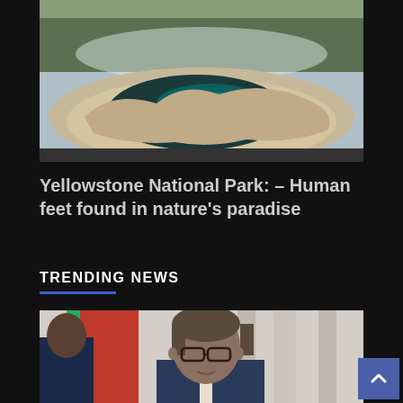[Figure (photo): Aerial or landscape photograph of a hot spring pool at Yellowstone National Park, showing teal/dark blue water surrounded by mineral deposits, with steaming water and pine forest in the background]
Yellowstone National Park: – Human feet found in nature's paradise
TRENDING NEWS
[Figure (photo): Close-up photograph of a man wearing glasses at what appears to be an official meeting or press event, with red and green flags visible in the background and another person partially visible on the left]